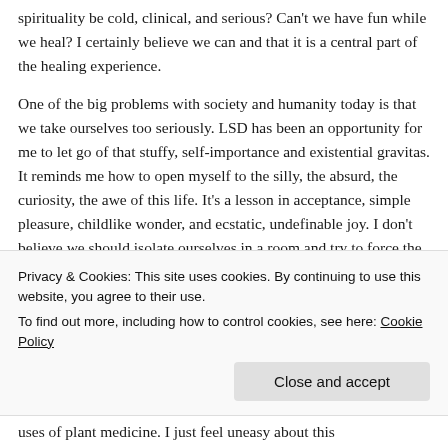spirituality be cold, clinical, and serious? Can't we have fun while we heal? I certainly believe we can and that it is a central part of the healing experience.
One of the big problems with society and humanity today is that we take ourselves too seriously. LSD has been an opportunity for me to let go of that stuffy, self-importance and existential gravitas. It reminds me how to open myself to the silly, the absurd, the curiosity, the awe of this life. It's a lesson in acceptance, simple pleasure, childlike wonder, and ecstatic, undefinable joy. I don't believe we should isolate ourselves in a room and try to force the direction and scope of our psychedelic voyages. We must give ourselves space to explore, to discover, to
Privacy & Cookies: This site uses cookies. By continuing to use this website, you agree to their use.
To find out more, including how to control cookies, see here: Cookie Policy
uses of plant medicine. I just feel uneasy about this